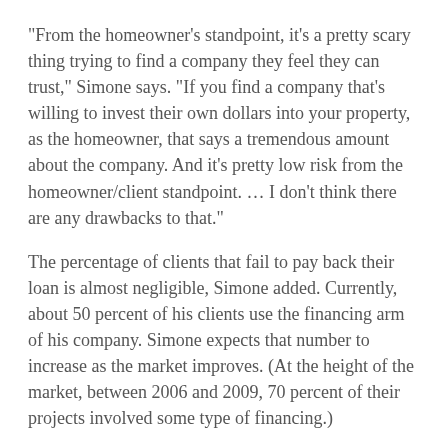“From the homeowner’s standpoint, it’s a pretty scary thing trying to find a company they feel they can trust,” Simone says. “If you find a company that’s willing to invest their own dollars into your property, as the homeowner, that says a tremendous amount about the company. And it’s pretty low risk from the homeowner/client standpoint. … I don’t think there are any drawbacks to that.”
The percentage of clients that fail to pay back their loan is almost negligible, Simone added. Currently, about 50 percent of his clients use the financing arm of his company. Simone expects that number to increase as the market improves. (At the height of the market, between 2006 and 2009, 70 percent of their projects involved some type of financing.)
Simone highly recommends that contractors maintain control or have an understanding on how projects are financed.
“Any contractor/remodeler that doesn’t offer financing or doesn’t have some “in” with somebody that offers financing is